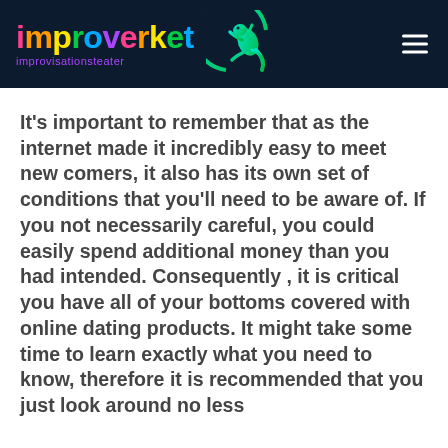improverket improvisationsteater
It's important to remember that as the internet made it incredibly easy to meet new comers, it also has its own set of conditions that you'll need to be aware of. If you not necessarily careful, you could easily spend additional money than you had intended. Consequently , it is critical you have all of your bottoms covered with online dating products. It might take some time to learn exactly what you need to know, therefore it is recommended that you just look around no less than one to a different dating sites before you decide to